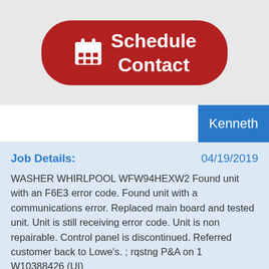[Figure (illustration): Red pill-shaped button with a calendar icon and the text 'Schedule Contact' in white bold font on a light gray background.]
Kenneth
Job Details: 04/19/2019
WASHER WHIRLPOOL WFW94HEXW2 Found unit with an F6E3 error code. Found unit with a communications error. Replaced main board and tested unit. Unit is still receiving error code. Unit is non repairable. Control panel is discontinued. Referred customer back to Lowe's. ; rqstng P&A on 1 W10388426 (UI)